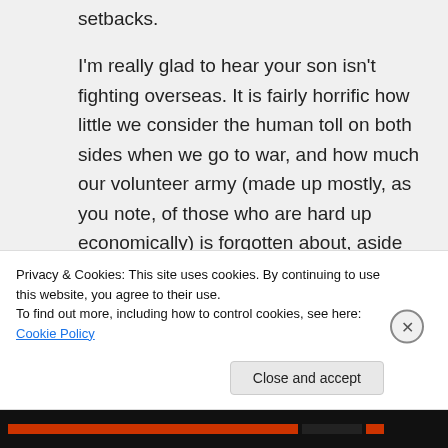setbacks.

I'm really glad to hear your son isn't fighting overseas. It is fairly horrific how little we consider the human toll on both sides when we go to war, and how much our volunteer army (made up mostly, as you note, of those who are hard up economically) is forgotten about, aside from jingoistic and horribly cynical and manipulative evocations from politicians and others in power. I remember in 2004 when all the
Privacy & Cookies: This site uses cookies. By continuing to use this website, you agree to their use.
To find out more, including how to control cookies, see here: Cookie Policy
Close and accept